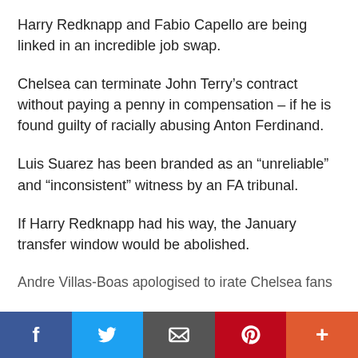Harry Redknapp and Fabio Capello are being linked in an incredible job swap.
Chelsea can terminate John Terry’s contract without paying a penny in compensation – if he is found guilty of racially abusing Anton Ferdinand.
Luis Suarez has been branded as an “unreliable” and “inconsistent” witness by an FA tribunal.
If Harry Redknapp had his way, the January transfer window would be abolished.
Andre Villas-Boas apologised to irate Chelsea fans
Social share bar: Facebook, Twitter, Email, Pinterest, More